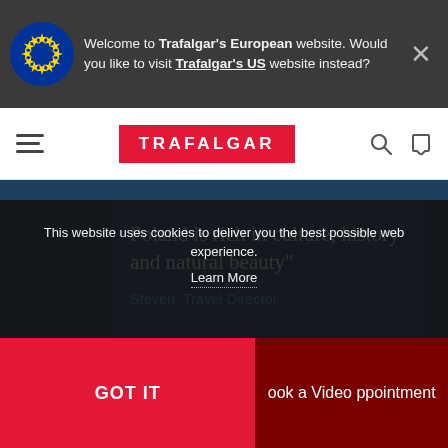Welcome to Trafalgar's European website. Would you like to visit Trafalgar's US website instead?
[Figure (logo): Trafalgar logo - white text on red background]
Poland is rich in culture, history and natural beauty"
Steven, Travel Director
This website uses cookies to deliver you the best possible web experience.
Learn More
GOT IT
ook a Video ppointment